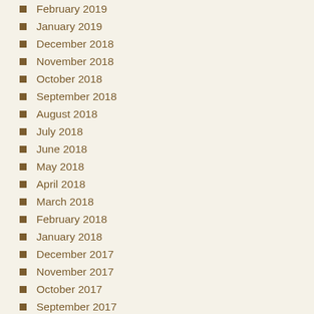February 2019
January 2019
December 2018
November 2018
October 2018
September 2018
August 2018
July 2018
June 2018
May 2018
April 2018
March 2018
February 2018
January 2018
December 2017
November 2017
October 2017
September 2017